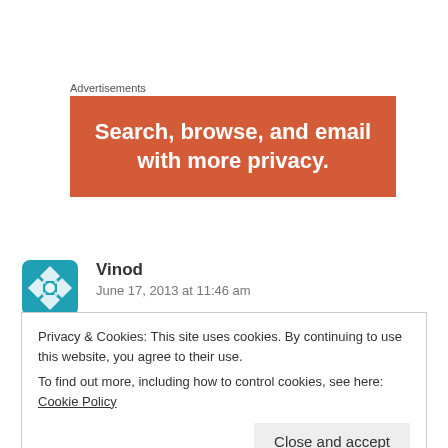Advertisements
[Figure (other): Orange/red advertisement banner with white bold text: 'Search, browse, and email with more privacy.']
Vinod
June 17, 2013 at 11:46 am
I came to this site after following a tweet!
Privacy & Cookies: This site uses cookies. By continuing to use this website, you agree to their use.
To find out more, including how to control cookies, see here: Cookie Policy
Close and accept